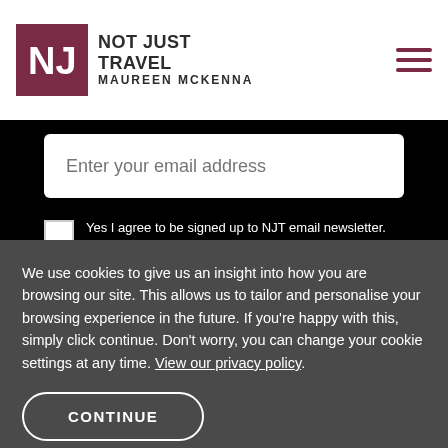NOT JUST TRAVEL MAUREEN MCKENNA
Enter your email address
Yes I agree to be signed up to NJT email newsletter. View our Terms and Conditions and Privacy Policy.
SIGN ME UP!
We use cookies to give us an insight into how you are browsing our site. This allows us to tailor and personalise your browsing experience in the future. If you're happy with this, simply click continue. Don't worry, you can change your cookie settings at any time. View our privacy policy.
CONTINUE